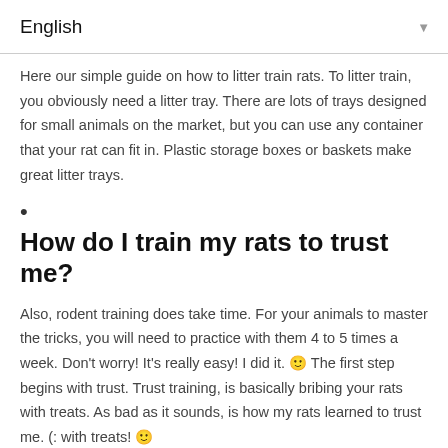English
Here our simple guide on how to litter train rats. To litter train, you obviously need a litter tray. There are lots of trays designed for small animals on the market, but you can use any container that your rat can fit in. Plastic storage boxes or baskets make great litter trays.
•
How do I train my rats to trust me?
Also, rodent training does take time. For your animals to master the tricks, you will need to practice with them 4 to 5 times a week. Don't worry! It's really easy! I did it. 🙂 The first step begins with trust. Trust training, is basically bribing your rats with treats. As bad as it sounds, is how my rats learned to trust me. (: with treats! 🙂